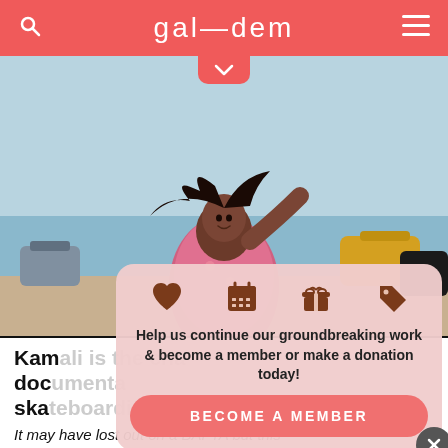gal—dem
[Figure (photo): A young girl with long flowing hair wearing a pink floral dress appears to be running or playing on a beach with colorful boats and water in the background. The photo has a bright, outdoor summer feel.]
[Figure (infographic): A pink popup card with icons (heart, calendar, gift, price tag) and text: 'Help us continue our groundbreaking work & become a member or make a donation today!' with a 'BECOME A MEMBER' button and an X close button.]
Kamali is the charming documentary on India's 10-year-old skateboarding scene
It may have lost out on a BAFTA but this